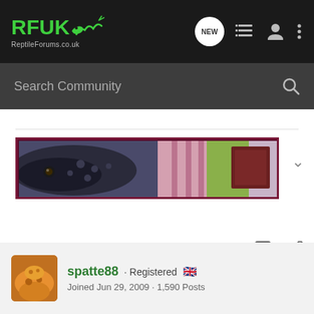RFUK ReptileForums.co.uk
Search Community
[Figure (photo): Banner image of a lizard/reptile with spotted dark coloring, close-up head shot against a blurred colorful background]
spatte88 · Registered
Joined Jun 29, 2009 · 1,590 Posts